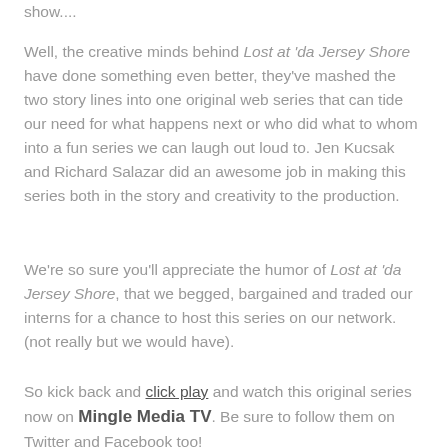show....
Well, the creative minds behind Lost at 'da Jersey Shore have done something even better, they've mashed the two story lines into one original web series that can tide our need for what happens next or who did what to whom into a fun series we can laugh out loud to. Jen Kucsak and Richard Salazar did an awesome job in making this series both in the story and creativity to the production.
We're so sure you'll appreciate the humor of Lost at 'da Jersey Shore, that we begged, bargained and traded our interns for a chance to host this series on our network. (not really but we would have).
So kick back and click play and watch this original series now on Mingle Media TV. Be sure to follow them on Twitter and Facebook too!